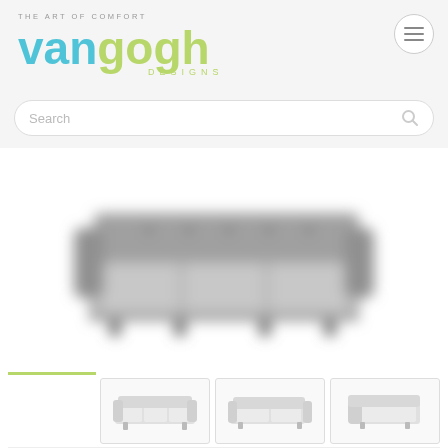THE ART OF COMFORT van gogh DESIGNS
[Figure (screenshot): Van Gogh Designs website header with logo: 'THE ART OF COMFORT' tagline above 'van' in teal and 'gogh' in green with 'DESIGNS' below]
[Figure (photo): Main product image: a blurred/out-of-focus gray tufted sofa with dark legs shown from a front-angled view]
[Figure (photo): Thumbnail 1: small white sofa with two cushions, front view]
[Figure (photo): Thumbnail 2: small white corner/sectional sofa view]
[Figure (photo): Thumbnail 3: small white armchair or sofa side view]
[Figure (photo): Partial thumbnail row at bottom of page, cut off]